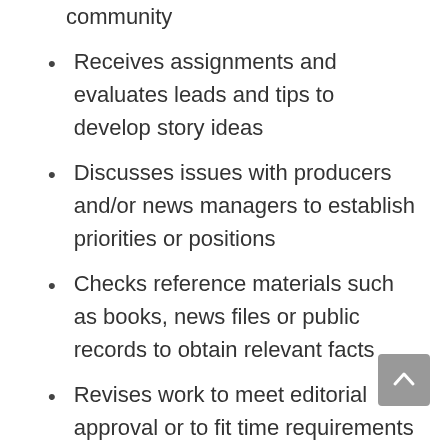community
Receives assignments and evaluates leads and tips to develop story ideas
Discusses issues with producers and/or news managers to establish priorities or positions
Checks reference materials such as books, news files or public records to obtain relevant facts
Revises work to meet editorial approval or to fit time requirements
Shoots and edits news events and news reports
Produces and presents reports for all platforms
Ensures that all content meets company standards for journalistic integrity and